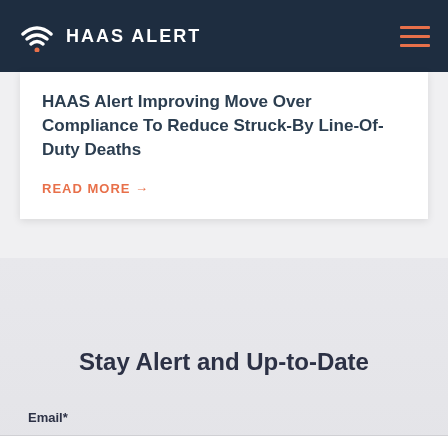HAAS ALERT
HAAS Alert Improving Move Over Compliance To Reduce Struck-By Line-Of-Duty Deaths
READ MORE →
Stay Alert and Up-to-Date
Email*